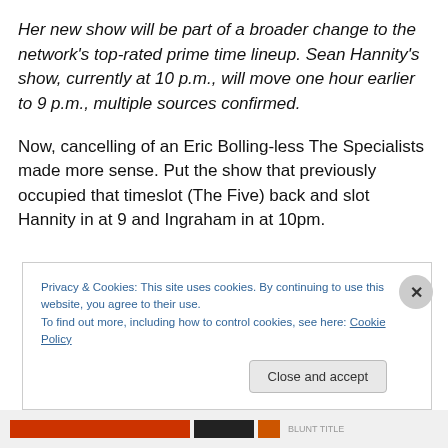Her new show will be part of a broader change to the network's top-rated prime time lineup. Sean Hannity's show, currently at 10 p.m., will move one hour earlier to 9 p.m., multiple sources confirmed.
Now, cancelling of an Eric Bolling-less The Specialists made more sense. Put the show that previously occupied that timeslot (The Five) back and slot Hannity in at 9 and Ingraham in at 10pm.
Privacy & Cookies: This site uses cookies. By continuing to use this website, you agree to their use.
To find out more, including how to control cookies, see here: Cookie Policy
Close and accept